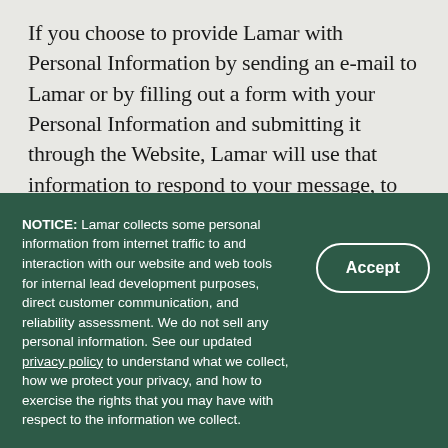If you choose to provide Lamar with Personal Information by sending an e-mail to Lamar or by filling out a form with your Personal Information and submitting it through the Website, Lamar will use that information to respond to your message, to fulfill your request, and to assist Lamar in providing you with information.
Lamar does not disclose, share, release, publish, disseminate, rent, or sell any
NOTICE: Lamar collects some personal information from internet traffic to and interaction with our website and web tools for internal lead development purposes, direct customer communication, and reliability assessment. We do not sell any personal information. See our updated privacy policy to understand what we collect, how we protect your privacy, and how to exercise the rights that you may have with respect to the information we collect.